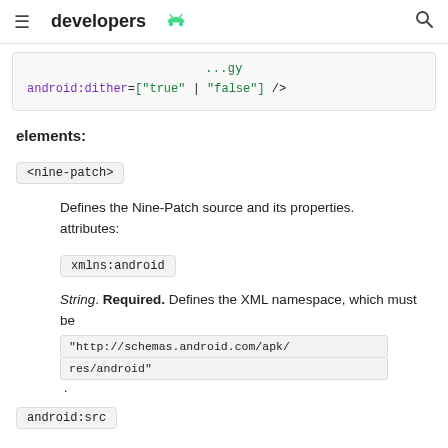developers
[Figure (screenshot): Code block showing android:dither=["true" | "false"] />]
elements:
<nine-patch>
Defines the Nine-Patch source and its properties.
attributes:
xmlns:android
String. Required. Defines the XML namespace, which must be "http://schemas.android.com/apk/res/android".
android:src